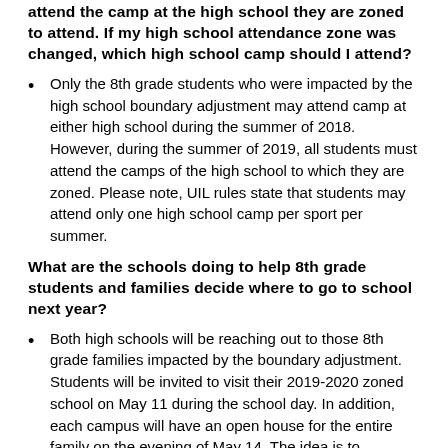attend the camp at the high school they are zoned to attend. If my high school attendance zone was changed, which high school camp should I attend?
Only the 8th grade students who were impacted by the high school boundary adjustment may attend camp at either high school during the summer of 2018. However, during the summer of 2019, all students must attend the camps of the high school to which they are zoned. Please note, UIL rules state that students may attend only one high school camp per sport per summer.
What are the schools doing to help 8th grade students and families decide where to go to school next year?
Both high schools will be reaching out to those 8th grade families impacted by the boundary adjustment. Students will be invited to visit their 2019-2020 zoned school on May 11 during the school day. In addition, each campus will have an open house for the entire family on the evening of May 14. The idea is to